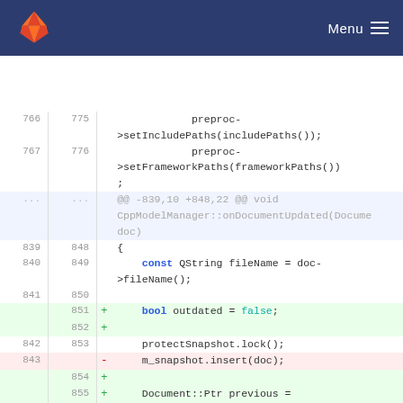GitLab — Menu
[Figure (screenshot): GitLab code diff view showing C++ source code changes in CppModelManager, lines 766-856, with added lines (green background) and removed lines (red background).]